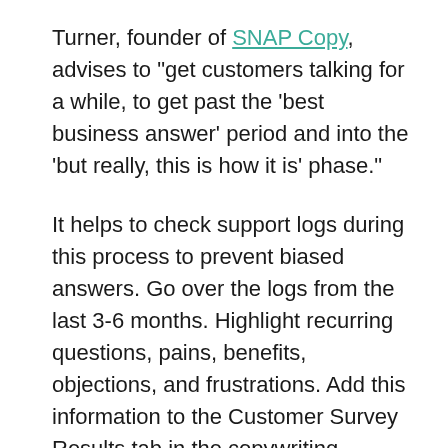Turner, founder of SNAP Copy, advises to "get customers talking for a while, to get past the ‘best business answer’ period and into the ‘but really, this is how it is’ phase."
It helps to check support logs during this process to prevent biased answers. Go over the logs from the last 3-6 months. Highlight recurring questions, pains, benefits, objections, and frustrations. Add this information to the Customer Survey Results tab in the copywriting research template.